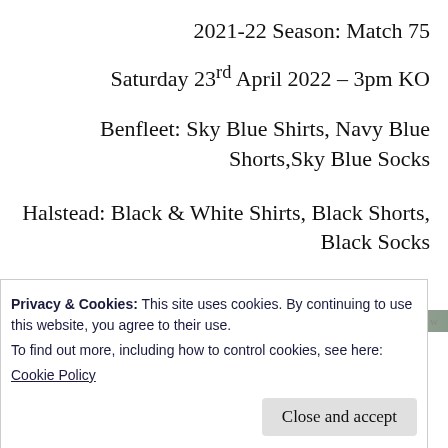2021-22 Season: Match 75
Saturday 23rd April 2022 – 3pm KO
Benfleet: Sky Blue Shirts, Navy Blue Shorts,Sky Blue Socks
Halstead: Black & White Shirts, Black Shorts, Black Socks
Privacy & Cookies: This site uses cookies. By continuing to use this website, you agree to their use.
To find out more, including how to control cookies, see here:
Cookie Policy
Close and accept